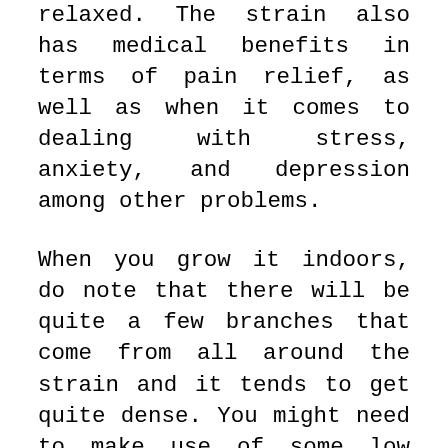relaxed. The strain also has medical benefits in terms of pain relief, as well as when it comes to dealing with stress, anxiety, and depression among other problems.
When you grow it indoors, do note that there will be quite a few branches that come from all around the strain and it tends to get quite dense. You might need to make use of some low stress training techniques to get things sorted. Also, ensure that there's enough light passing through to the lower portions of the plant. Another tip here is that since the buds are too dense and close together, you might want to promote some airflow in the tent. Thankfully, the plants don't grow too tall and can be easily managed inside a grow tent. Indoor growers can expect about 550 grams